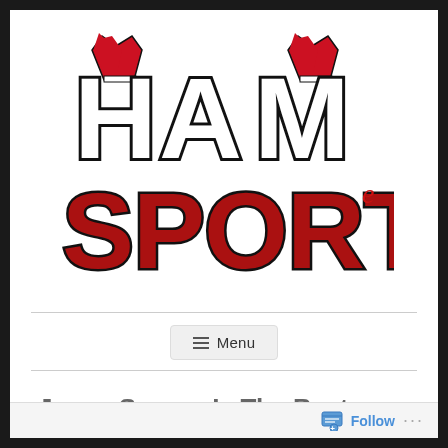[Figure (logo): Ham Sports logo with bold block letters 'HAM' in black and white, and 'SPORTS' in dark red/crimson with black outline. Two red football jersey shoulders flank the top of 'HAM'. A small cursive 'e' appears as superscript after 'SPORTS'.]
≡ Menu
Jason Spezza Is The Best.
Follow ...